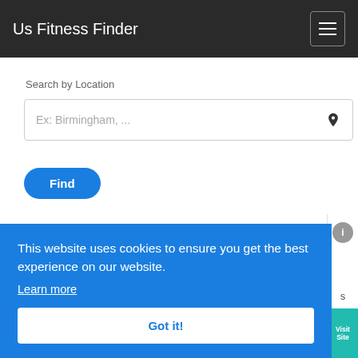Us Fitness Finder
Search by Location
Ex: Birmingham, ...
Find
This website uses cookies to ensure you get the best experience on our website. Learn more
Got it!
Visit Site